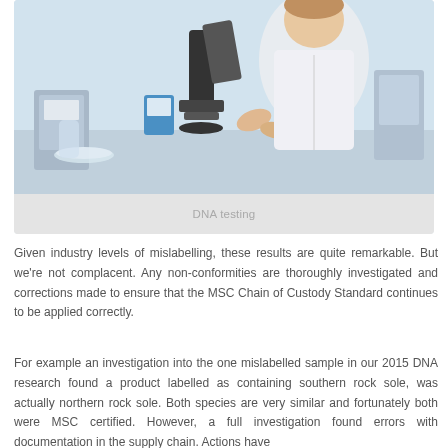[Figure (photo): Laboratory scene showing a scientist in a white lab coat examining samples under a microscope, with lab equipment visible in the background]
DNA testing
Given industry levels of mislabelling, these results are quite remarkable. But we're not complacent. Any non-conformities are thoroughly investigated and corrections made to ensure that the MSC Chain of Custody Standard continues to be applied correctly.
For example an investigation into the one mislabelled sample in our 2015 DNA research found a product labelled as containing southern rock sole, was actually northern rock sole. Both species are very similar and fortunately both were MSC certified. However, a full investigation found errors with documentation in the supply chain. Actions have